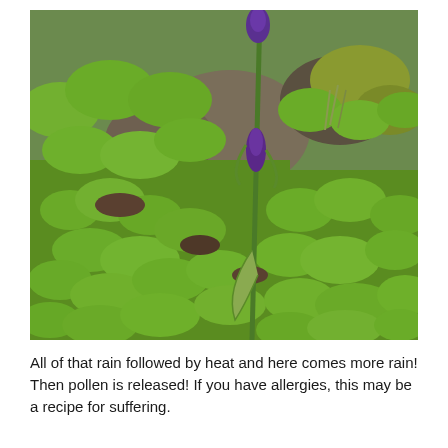[Figure (photo): A garden scene showing lush green leafy plants covering a rocky slope, with a tall iris flower stalk with purple buds visible in the center-right of the image.]
All of that rain followed by heat and here comes more rain! Then pollen is released! If you have allergies, this may be a recipe for suffering.